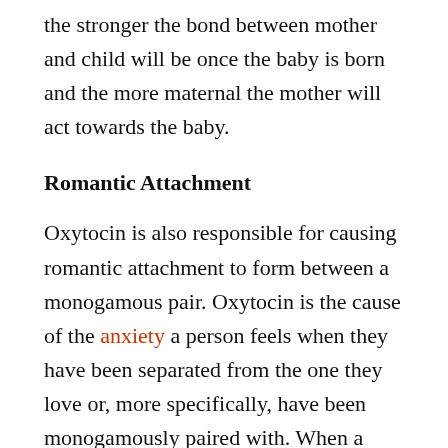the stronger the bond between mother and child will be once the baby is born and the more maternal the mother will act towards the baby.
Romantic Attachment
Oxytocin is also responsible for causing romantic attachment to form between a monogamous pair. Oxytocin is the cause of the anxiety a person feels when they have been separated from the one they love or, more specifically, have been monogamously paired with. When a monogamous pair is with each other, oxytocin is released. This release causes them to feel content, happier, relaxed, and trusting: basic components of “feeling in love”. However, when the